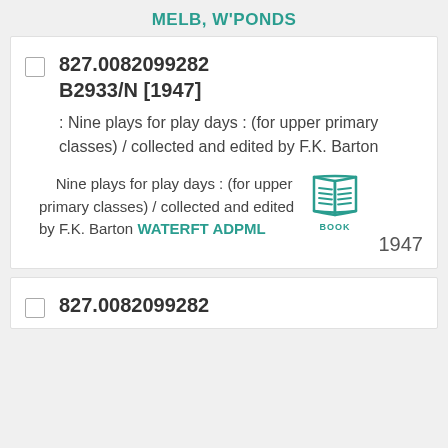MELB, W'PONDS
827.0082099282
B2933/N [1947]
: Nine plays for play days : (for upper primary classes) / collected and edited by F.K. Barton
Nine plays for play days : (for upper primary classes) / collected and edited by F.K. Barton WATERFT ADPML
[Figure (illustration): Book icon with teal color and label BOOK below]
1947
827.0082099282